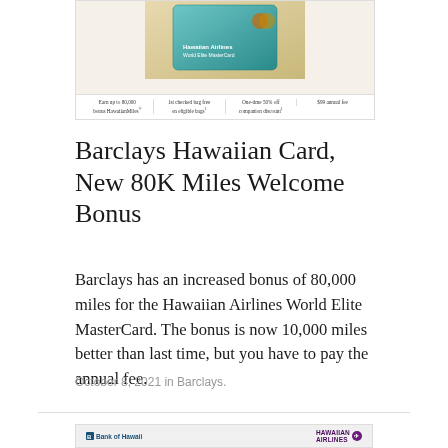[Figure (photo): Barclays Hawaiian Airlines World Elite MasterCard image with card features listed below: Earn up to 80,000 bonus HawaiianMiles, 1st checked bag free on eligible bags, One-time 50% off companion discount, $99 annual fee]
Barclays Hawaiian Card, New 80K Miles Welcome Bonus
Barclays has an increased bonus of 80,000 miles for the Hawaiian Airlines World Elite MasterCard. The bonus is now 10,000 miles better than last time, but you have to pay the annual fee.
October 8, 2021 in Barclays.
[Figure (photo): Bank of Hawaii and Hawaiian Airlines co-branded credit card image at bottom of page]